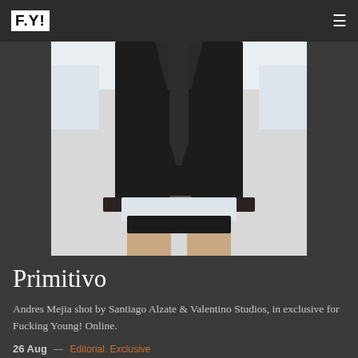F.Y!
[Figure (photo): Fashion editorial photo: torso of model wearing a black vest over white shirt with black tie and belt with small Prada bag attached, showing bare legs]
Primitivo
Andres Mejia shot by Santiago Alzate & Valentino Studios, in exclusive for Fucking Young! Online.
26 Aug — Editorial. Exclusive